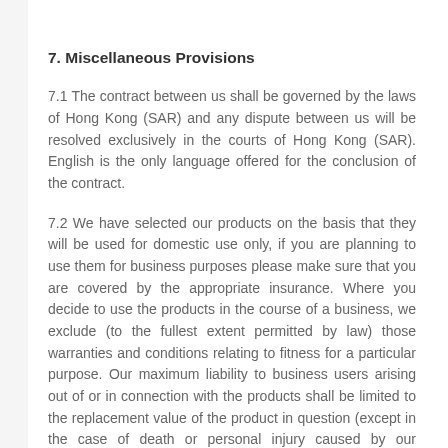7. Miscellaneous Provisions
7.1 The contract between us shall be governed by the laws of Hong Kong (SAR) and any dispute between us will be resolved exclusively in the courts of Hong Kong (SAR). English is the only language offered for the conclusion of the contract.
7.2 We have selected our products on the basis that they will be used for domestic use only, if you are planning to use them for business purposes please make sure that you are covered by the appropriate insurance. Where you decide to use the products in the course of a business, we exclude (to the fullest extent permitted by law) those warranties and conditions relating to fitness for a particular purpose. Our maximum liability to business users arising out of or in connection with the products shall be limited to the replacement value of the product in question (except in the case of death or personal injury caused by our negligence or in